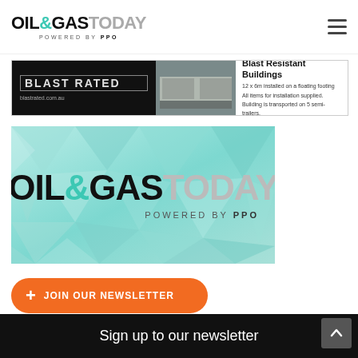OIL&GASTODAY POWERED BY PPO
[Figure (advertisement): Blast Rated advertisement banner showing blast resistant buildings. Text: 'BLAST RATED', 'blastrated.com.au', 'Blast Resistant Buildings', '12 x 6m installed on a floating footing', 'All items for installation supplied.', 'Building is transported on 5 semi-trailers.']
[Figure (logo): Oil & Gas Today powered by PPO logo on a teal geometric polygon background]
+ JOIN OUR NEWSLETTER
Sign up to our newsletter